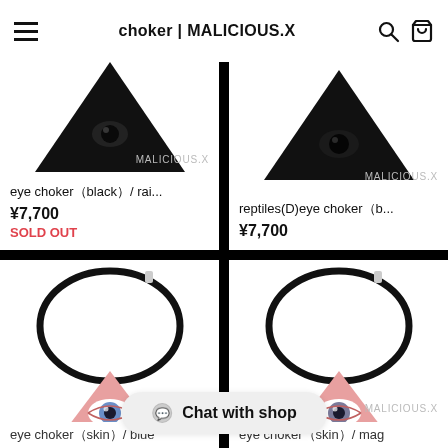choker | MALICIOUS.X
[Figure (photo): Eye choker black product image with triangle black pendant and MALICIOUS.X watermark]
eye choker（black）/ rai...
¥7,700
SOLD OUT
[Figure (photo): Reptiles(D) eye choker black product image with triangle black pendant and MALICIOUS.X watermark]
reptiles(D)eye choker（b...
¥7,700
[Figure (photo): Eye choker skin/blue product image with black oval choker cord and pink triangular eye pendant, MALICIOUS.X watermark]
eye choker（skin）/ blue
[Figure (photo): Eye choker skin/mag product image with black oval choker cord and pink triangular eye pendant, MALICIOUS.X watermark]
eye choker（skin）/ mag